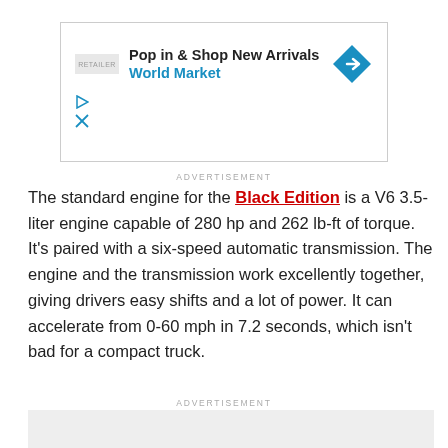[Figure (other): Advertisement banner with logo, 'Pop in & Shop New Arrivals World Market' text, and a blue diamond navigation icon with arrow]
ADVERTISEMENT
The standard engine for the Black Edition is a V6 3.5-liter engine capable of 280 hp and 262 lb-ft of torque. It's paired with a six-speed automatic transmission. The engine and the transmission work excellently together, giving drivers easy shifts and a lot of power. It can accelerate from 0-60 mph in 7.2 seconds, which isn't bad for a compact truck.
ADVERTISEMENT